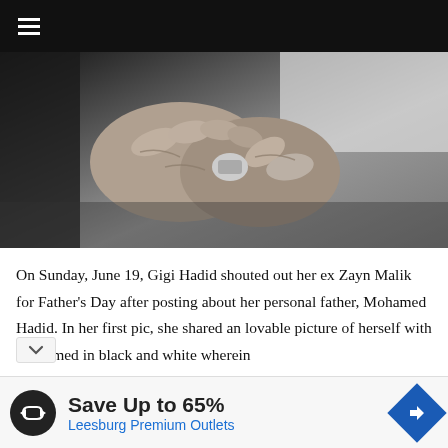☰
[Figure (photo): Black and white close-up photo of hands, likely an older person's hands holding something small, with clothing visible on the left side.]
On Sunday, June 19, Gigi Hadid shouted out her ex Zayn Malik for Father's Day after posting about her personal father, Mohamed Hadid. In her first pic, she shared an lovable picture of herself with Mohamed in black and white wherein
[Figure (infographic): Advertisement: Save Up to 65% at Leesburg Premium Outlets. Shows a circular logo with a looping arrow icon on the left and a blue diamond arrow icon on the right.]